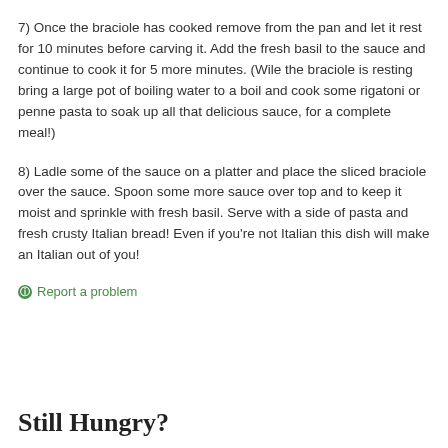7) Once the braciole has cooked remove from the pan and let it rest for 10 minutes before carving it. Add the fresh basil to the sauce and continue to cook it for 5 more minutes. (Wile the braciole is resting bring a large pot of boiling water to a boil and cook some rigatoni or penne pasta to soak up all that delicious sauce, for a complete meal!)
8) Ladle some of the sauce on a platter and place the sliced braciole over the sauce. Spoon some more sauce over top and to keep it moist and sprinkle with fresh basil. Serve with a side of pasta and fresh crusty Italian bread! Even if you're not Italian this dish will make an Italian out of you!
Report a problem
Still Hungry?